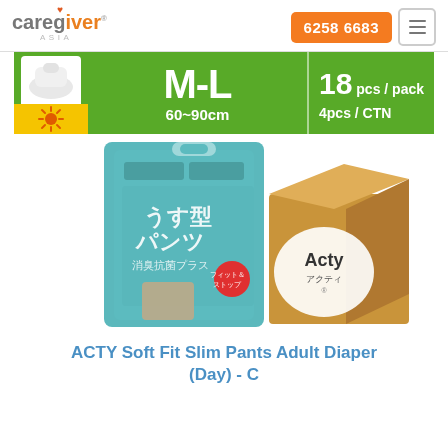caregiver ASIA  6258 6683
[Figure (infographic): Product info banner showing size M-L, 60~90cm, 18 pcs/pack, 4pcs/CTN on green background]
[Figure (photo): Photo of ACTY Soft Fit Slim Pants Adult Diaper (Day) product bag and shipping box, M-L size, 18 pieces]
ACTY Soft Fit Slim Pants Adult Diaper (Day) - C